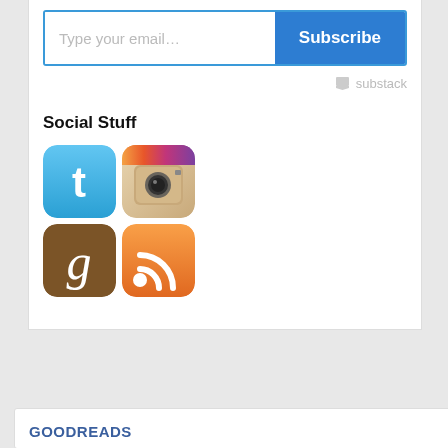[Figure (screenshot): Email subscription widget with 'Type your email...' input field and blue 'Subscribe' button, with Substack branding below]
Social Stuff
[Figure (illustration): Four social media icons in a 2x2 grid: Twitter (blue bird), Instagram (camera), Goodreads (brown 'g'), RSS feed (orange)]
GOODREADS